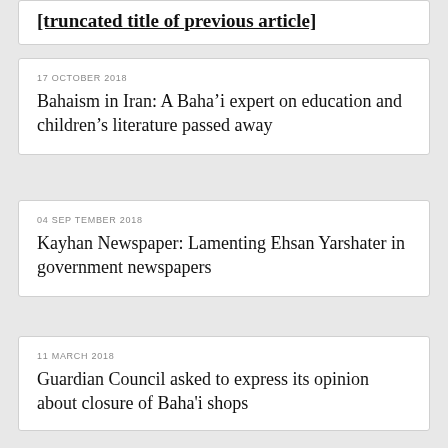[truncated title from previous item]
17 OCTOBER 2018
Bahaism in Iran: A Baha’i expert on education and children’s literature passed away
04 SEPTEMBER 2018
Kayhan Newspaper: Lamenting Ehsan Yarshater in government newspapers
11 MARCH 2018
Guardian Council asked to express its opinion about closure of Baha'i shops
21 FEBRUARY 2018
Advisory opinion of Deputy Prosecutor General: The sealing of the commercial units belonging to Baha'i's has no legal basis